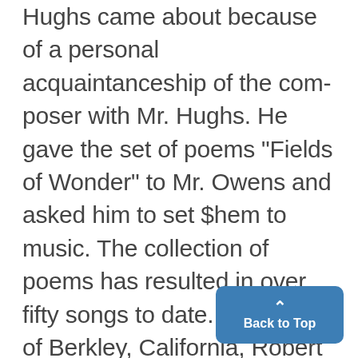Hughs came about because of a personal acquaintanceship of the composer with Mr. Hughs. He gave the set of poems "Fields of Wonder" to Mr. Owens and asked him to set $hem to music. The collection of poems has resulted in over fifty songs to date. A NATIVE of Berkley, California, Robert Owens has resided in Munich for the past twelve years. At that age, while still a student at Berkley High School, Owens performed as so his first concerto for piano and chestra with the Berkeley Young
Back to Top